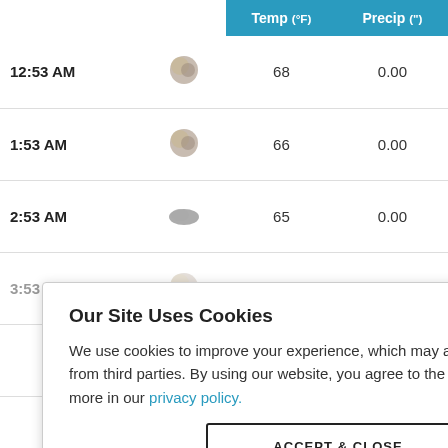|  |  | Temp (°F) | Precip (") |
| --- | --- | --- | --- |
| 12:53 AM | [icon] | 68 | 0.00 |
| 1:53 AM | [icon] | 66 | 0.00 |
| 2:53 AM | [icon] | 65 | 0.00 |
| 3:53 AM | [icon] | 64 | 0.00 |
|  | [icon] |  | 0.00 |
|  | [icon] |  | 0.00 |
|  | [icon] |  | 0.00 |
| 8:15 AM | [icon] | 65 | 0.00 |
Our Site Uses Cookies
We use cookies to improve your experience, which may also include cookies from third parties. By using our website, you agree to the use of cookies. Learn more in our privacy policy.